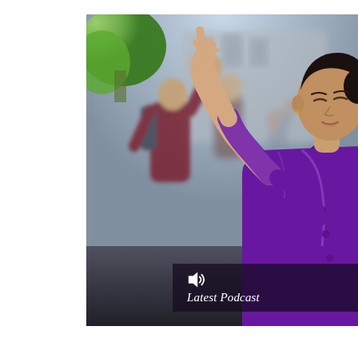[Figure (photo): Outdoor group exercise or meditation scene. Foreground: an Asian woman in a purple satin blouse with eyes closed, right arm raised with hand extended upward, performing a meditative movement exercise. Background: other participants also raising their arms, blurred. Setting appears to be an outdoor public space with trees visible in the upper left.]
Latest Podcast